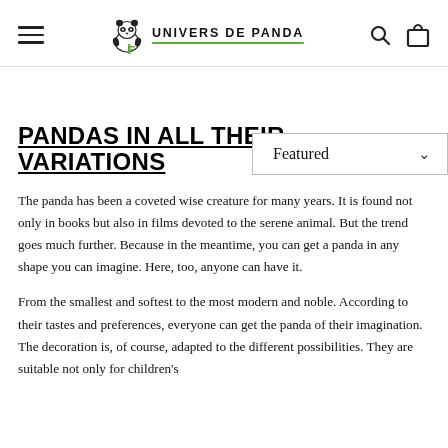UNIVERS DE PANDA
Featured
PANDAS IN ALL THEIR VARIATIONS
The panda has been a coveted wise creature for many years. It is found not only in books but also in films devoted to the serene animal. But the trend goes much further. Because in the meantime, you can get a panda in any shape you can imagine. Here, too, anyone can have it.
From the smallest and softest to the most modern and noble. According to their tastes and preferences, everyone can get the panda of their imagination. The decoration is, of course, adapted to the different possibilities. They are suitable not only for children's